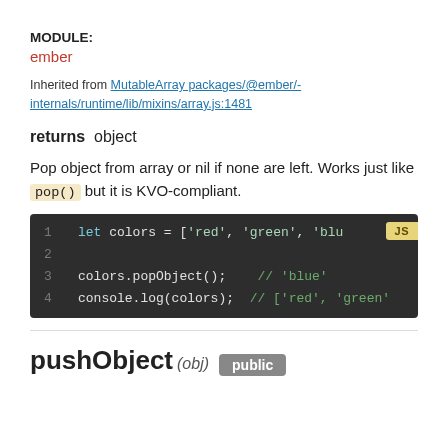MODULE:
ember
Inherited from MutableArray packages/@ember/-internals/runtime/lib/mixins/array.js:1481
returns  object
Pop object from array or nil if none are left. Works just like pop() but it is KVO-compliant.
[Figure (screenshot): Code block showing: 1 let colors = ['red', 'green', 'blu  JS  2  3 colors.popObject();    // 'blue'  4 console.log(colors);  // ['red', 'green']
pushObject (obj) public